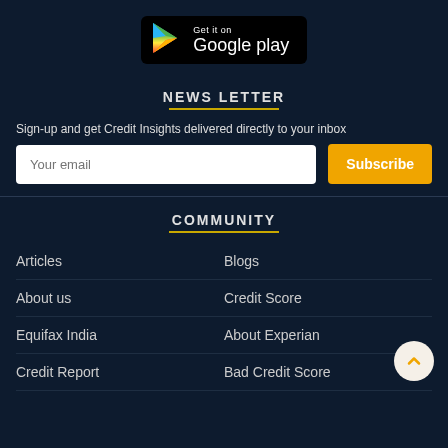[Figure (logo): Google Play store download button with play icon on black background]
NEWS LETTER
Sign-up and get Credit Insights delivered directly to your inbox
COMMUNITY
Articles
Blogs
About us
Credit Score
Equifax India
About Experian
Credit Report
Bad Credit Score